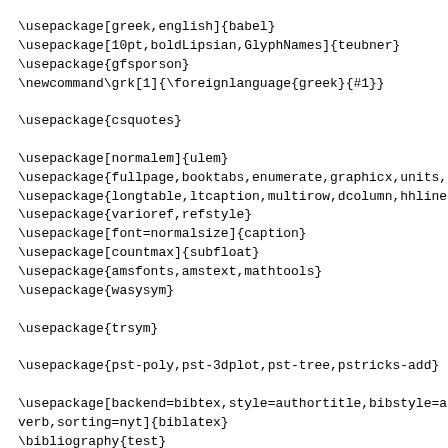\usepackage[greek,english]{babel}
\usepackage[10pt,boldLipsian,GlyphNames]{teubner}
\usepackage{gfsporson}
\newcommand\grk[1]{\foreignlanguage{greek}{#1}}

\usepackage{csquotes}

\usepackage[normalem]{ulem}
\usepackage{fullpage,booktabs,enumerate,graphicx,units,st
\usepackage{longtable,ltcaption,multirow,dcolumn,hhline,p
\usepackage{varioref,refstyle}
\usepackage[font=normalsize]{caption}
\usepackage[countmax]{subfloat}
\usepackage{amsfonts,amstext,mathtools}
\usepackage{wasysym}

\usepackage{trsym}

\usepackage{pst-poly,pst-3dplot,pst-tree,pstricks-add}

\usepackage[backend=bibtex,style=authortitle,bibstyle=aut
verb,sorting=nyt]{biblatex}
\bibliography{test}

\listfiles

\begin{document}

A citation to something.\cite{Zahrt}